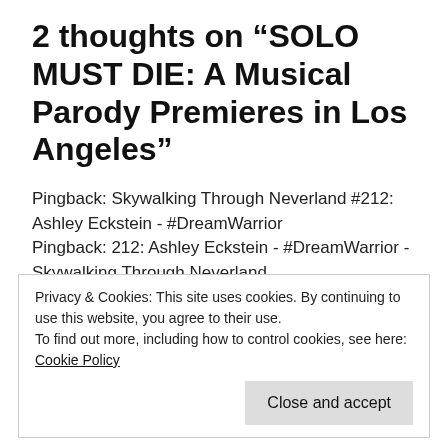2 thoughts on “SOLO MUST DIE: A Musical Parody Premieres in Los Angeles”
Pingback: Skywalking Through Neverland #212: Ashley Eckstein - #DreamWarrior
Pingback: 212: Ashley Eckstein - #DreamWarrior - Skywalking Through Neverland
Have an Opinion?
Privacy & Cookies: This site uses cookies. By continuing to use this website, you agree to their use.
To find out more, including how to control cookies, see here: Cookie Policy